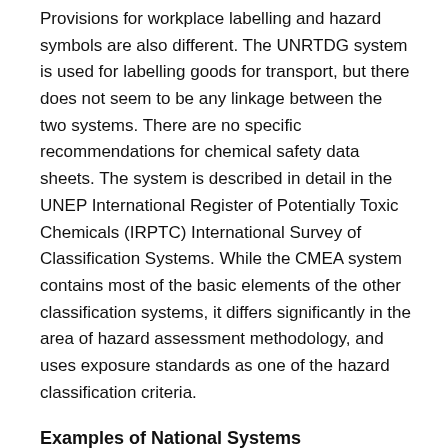Provisions for workplace labelling and hazard symbols are also different. The UNRTDG system is used for labelling goods for transport, but there does not seem to be any linkage between the two systems. There are no specific recommendations for chemical safety data sheets. The system is described in detail in the UNEP International Register of Potentially Toxic Chemicals (IRPTC) International Survey of Classification Systems. While the CMEA system contains most of the basic elements of the other classification systems, it differs significantly in the area of hazard assessment methodology, and uses exposure standards as one of the hazard classification criteria.
Examples of National Systems
Australia
Australia has enacted legislation for the notification and assessment of industrial chemicals, the Industrial Chemicals Notification and Assessment Act of 1989, with similar